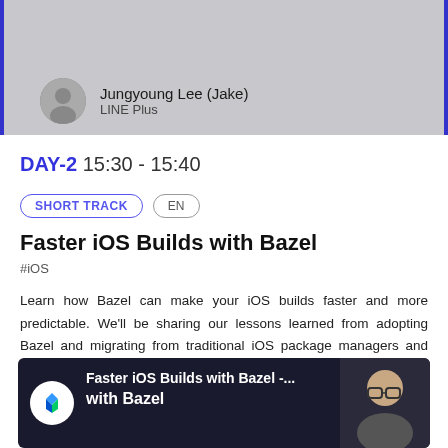Jungyoung Lee (Jake)
LINE Plus
DAY-2 15:30 - 15:40
SHORT TRACK   EN
Faster iOS Builds with Bazel
#iOS
Learn how Bazel can make your iOS builds faster and more predictable. We'll be sharing our lessons learned from adopting Bazel and migrating from traditional iOS package managers and build systems to Bazel to improve our iOS build performance.
[Figure (screenshot): Video thumbnail showing 'Faster iOS Builds with Bazel' with a speaker's face visible and a Bazel logo icon on the left.]